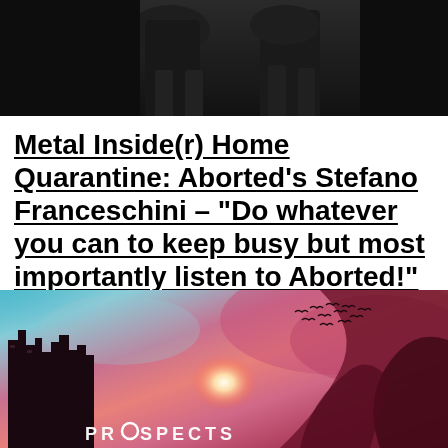[Figure (photo): Black and white photo showing partial figures/legs against dark background]
Metal Inside(r) Home Quarantine: Aborted’s Stefano Franceschini – “Do whatever you can to keep busy but most importantly listen to Aborted!”
[Figure (photo): Album artwork or promotional image with dramatic red and teal sky, building silhouette on left, dark shape on right, bright center glow, birds in sky, and text 'PROSPECTS' at bottom]